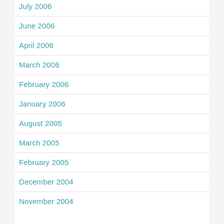July 2006
June 2006
April 2006
March 2006
February 2006
January 2006
August 2005
March 2005
February 2005
December 2004
November 2004